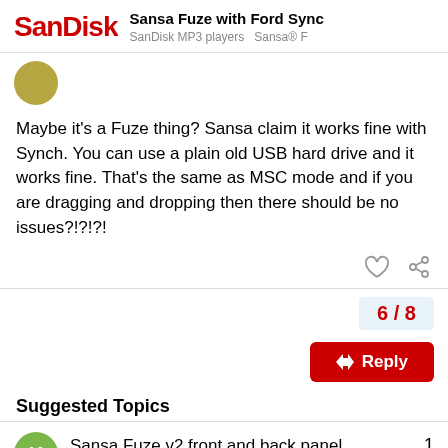Sansa Fuze with Ford Sync | SanDisk MP3 players  Sansa® F
[Figure (illustration): Circular avatar placeholder in olive/gold color]
Maybe it's a Fuze thing? Sansa claim it works fine with Synch. You can use a plain old USB hard drive and it works fine. That's the same as MSC mode and if you are dragging and dropping then there should be no issues?!?!?!
[Figure (infographic): Post action icons: heart (like) and chain-link (share)]
6 / 8
[Figure (infographic): Red Reply button with back arrow]
Suggested Topics
Sansa Fuze v2 front and back panel
Sansa® Fuze™
1
Apr 29